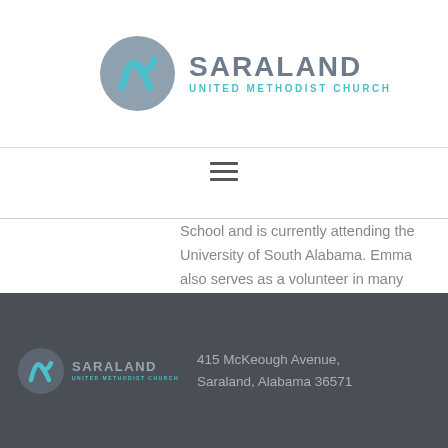[Figure (logo): Saraland United Methodist Church logo with circular emblem and text]
School and is currently attending the University of South Alabama. Emma also serves as a volunteer in many capacities in the church, including a small group leader in our Kids Ministry.
415 McKeough Avenue, Saraland, Alabama 36571